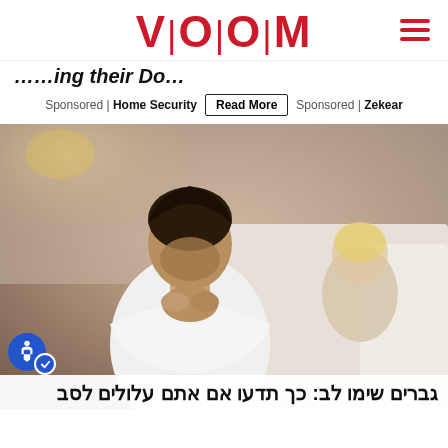VOOOM
... (partial article title, cut off)
Sponsored | Home Security  Read More  Sponsored | Zekear
[Figure (photo): A man sitting on the edge of a bed, head bowed, hands clasped under his chin in a troubled pose. In the background, a blonde woman sits on the bed looking at him. Bedroom setting with warm lighting.]
גברים שימו לב: כך תדעו אם אתם עלולים לסב (partial Hebrew text)